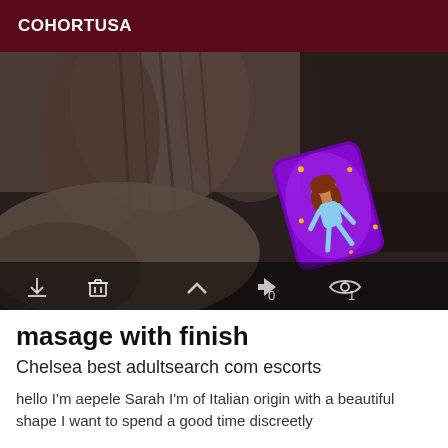COHORTUSA
[Figure (photo): A dark photo showing what appears to be draped fabric or cave-like textures in grey/brown tones, with a purple glowing animated sticker showing a cartoon woman character floating with sparkles. At the bottom of the image are UI toolbar icons: download, trash, collapse, share (arrow), eye icon, with numbers 0 and 1.]
masage with finish
Chelsea best adultsearch com escorts
hello I'm aepele Sarah I'm of Italian origin with a beautiful shape I want to spend a good time discreetly